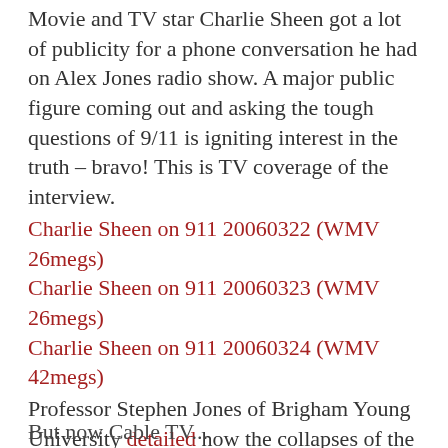Movie and TV star Charlie Sheen got a lot of publicity for a phone conversation he had on Alex Jones radio show. A major public figure coming out and asking the tough questions of 9/11 is igniting interest in the truth – bravo! This is TV coverage of the interview.
Charlie Sheen on 911 20060322 (WMV 26megs)
Charlie Sheen on 911 20060323 (WMV 26megs)
Charlie Sheen on 911 20060324 (WMV 42megs)
Professor Stephen Jones of Brigham Young University detailed how the collapses of the WTC were most likely caused by explosives. His astounding story was covered fairly by a local Utah TV station.
Professor Steven Jones on Utah TV News (WMV 7megs)
But now Cable TV...